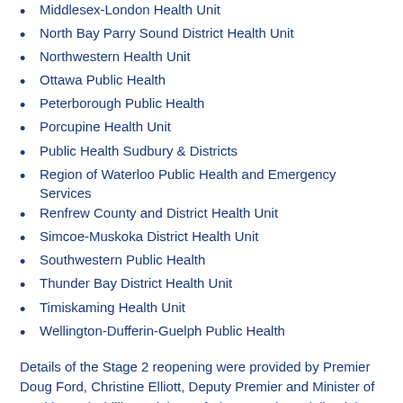Middlesex-London Health Unit
North Bay Parry Sound District Health Unit
Northwestern Health Unit
Ottawa Public Health
Peterborough Public Health
Porcupine Health Unit
Public Health Sudbury & Districts
Region of Waterloo Public Health and Emergency Services
Renfrew County and District Health Unit
Simcoe-Muskoka District Health Unit
Southwestern Public Health
Thunder Bay District Health Unit
Timiskaming Health Unit
Wellington-Dufferin-Guelph Public Health
Details of the Stage 2 reopening were provided by Premier Doug Ford, Christine Elliott, Deputy Premier and Minister of Health, Rod Phillips, Minister of Finance, Vic Fedeli, Minister of Economic Development, Job Creation and Trade, and Monte McNaughton, Minister of Labour, Training and Skills Development.